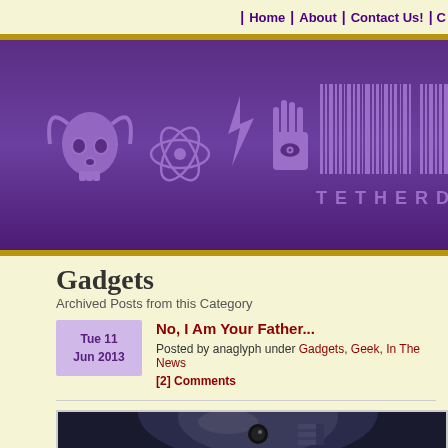Home | About | Contact Us! | C
[Figure (illustration): Tetherd Cow website banner with purple background showing icons: bull skull, atom, lightning bolt, hand with eye, barcode pattern, and text TETHERD COW]
Gadgets
Archived Posts from this Category
No, I Am Your Father...
Posted by anaglyph under Gadgets, Geek, In The News
[2] Comments
[Figure (photo): Close-up photo of R2-D2 robot head from Star Wars, showing the dome top and body with panels and lenses]